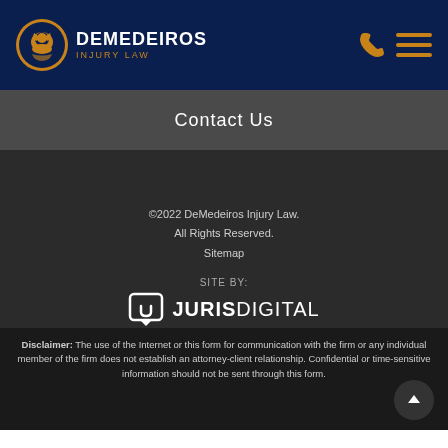[Figure (logo): DeMedeiros Injury Law logo with golden eagle in circular badge and firm name text]
Contact Us
©2022 DeMedeiros Injury Law.
All Rights Reserved.
Sitemap
SITE BY:
[Figure (logo): Juris Digital logo with shield icon and JURISDIGITAL text]
Disclaimer: The use of the Internet or this form for communication with the firm or any individual member of the firm does not establish an attorney-client relationship. Confidential or time-sensitive information should not be sent through this form.